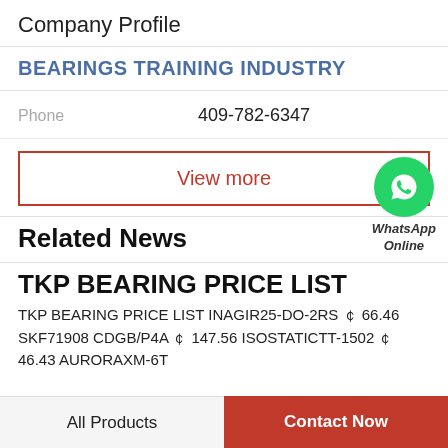Company Profile
BEARINGS TRAINING INDUSTRY
Phone  409-782-6347
View more
[Figure (logo): WhatsApp green circle icon with phone handset, labeled WhatsApp Online]
Related News
TKP BEARING PRICE LIST
TKP BEARING PRICE LIST INAGIR25-DO-2RS ￠ 66.46 SKF71908 CDGB/P4A ￠ 147.56 ISOSTATICTT-1502 ￠ 46.43 AURORAXM-6T
All Products  Contact Now